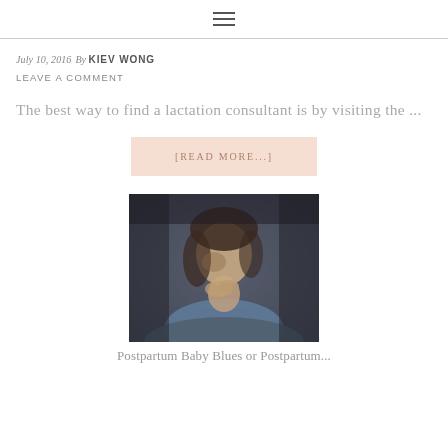≡
July 10, 2016 By KIEV WONG
LEAVE A COMMENT
The best way to find a lactation consultant is by visiting the ...
[READ MORE...]
[Figure (photo): A woman with dark hair, hands near her face/chin, wearing a blue-grey shirt, appearing thoughtful or concerned. Dark, moody background.]
Postpartum Baby Blues or Postpartum...